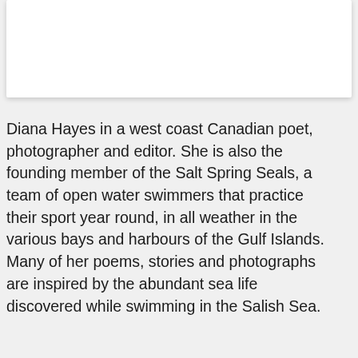[Figure (other): White rectangular card/image area at the top of the page, partially visible, with shadow.]
Diana Hayes in a west coast Canadian poet, photographer and editor. She is also the founding member of the Salt Spring Seals, a team of open water swimmers that practice their sport year round, in all weather in the various bays and harbours of the Gulf Islands. Many of her poems, stories and photographs are inspired by the abundant sea life discovered while swimming in the Salish Sea.